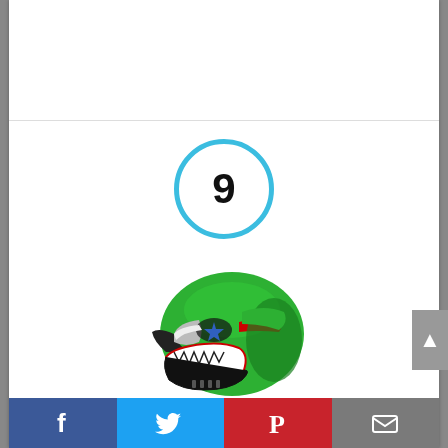[Figure (other): Number 9 inside a light blue circle, serving as a ranking badge]
[Figure (photo): Green motocross BMX MX ATV dirt bike helmet with shark mouth design, blue star, red and white accents]
WOW Youth Kids Motocross BMX MX ATV Dirt Bike Helmet Shark Green
By Brand: WOW!
Facebook | Twitter | Pinterest | Email social share bar